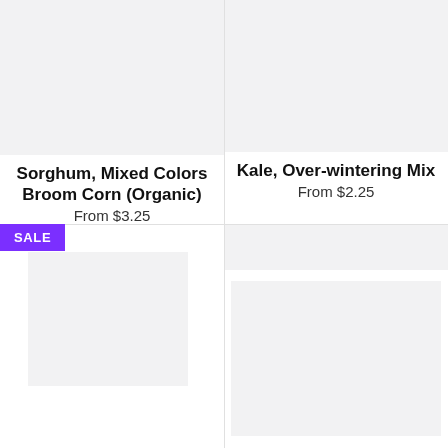[Figure (photo): Product image placeholder for Sorghum Mixed Colors Broom Corn (Organic)]
Sorghum, Mixed Colors Broom Corn (Organic)
From $3.25
[Figure (photo): Product image placeholder for Kale, Over-wintering Mix]
Kale, Over-wintering Mix
From $2.25
SALE
[Figure (photo): Product image placeholder for bottom-left item]
[Figure (photo): Product image placeholder for bottom-right item]